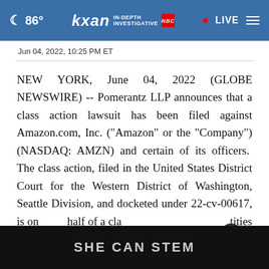86° kxan IN-DEPTH INVESTIGATIVE • LIVE
Jun 04, 2022, 10:25 PM ET
NEW YORK, June 04, 2022 (GLOBE NEWSWIRE) -- Pomerantz LLP announces that a class action lawsuit has been filed against Amazon.com, Inc. ("Amazon" or the "Company") (NASDAQ: AMZN) and certain of its officers.  The class action, filed in the United States District Court for the Western District of Washington, Seattle Division, and docketed under 22-cv-00617, is on behalf of a class of entities at the...